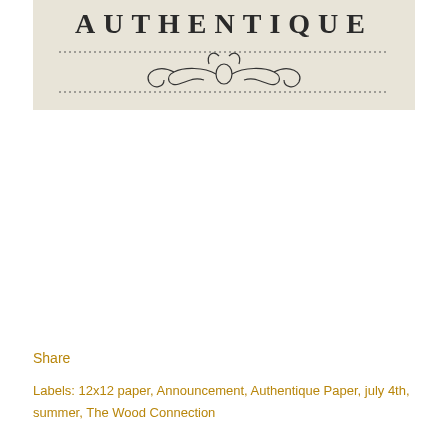[Figure (logo): Authentique Paper logo on beige/cream background with decorative scrollwork flourish and dashed border lines]
Share
Labels: 12x12 paper, Announcement, Authentique Paper, july 4th, summer, The Wood Connection